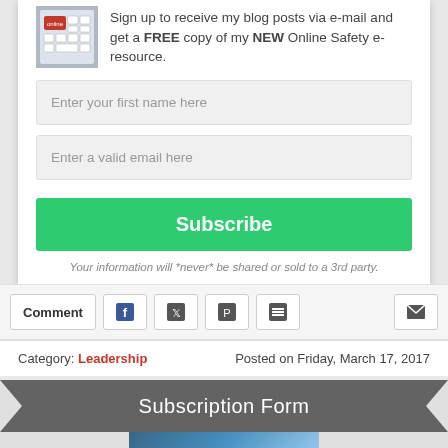[Figure (photo): Online safety keyboard image with red key]
Sign up to receive my blog posts via e-mail and get a FREE copy of my NEW Online Safety e-resource.
Enter your first name here
Enter a valid email here
Subscribe
Your information will *never* be shared or sold to a 3rd party.
Comment
Category: Leadership  Posted on Friday, March 17, 2017
Subscription Form